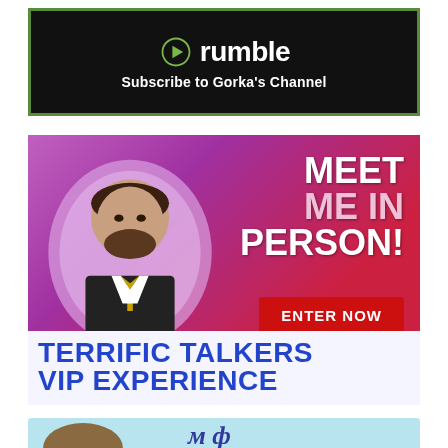[Figure (logo): Rumble logo with green play button icon and white text 'rumble', with tagline 'Subscribe to Gorka's Channel' on black background with green border]
[Figure (infographic): Terrific Talkers VIP Experience promotional banner featuring a man in a suit, text 'MEET ME IN PERSON!' and 'ENTER NOW' button on purple-to-red gradient background, with 'TERRIFIC TALKERS VIP EXPERIENCE' in large blue bold text at bottom]
[Figure (photo): Partial view of another promotional banner with light blue background, partially visible at bottom of page]